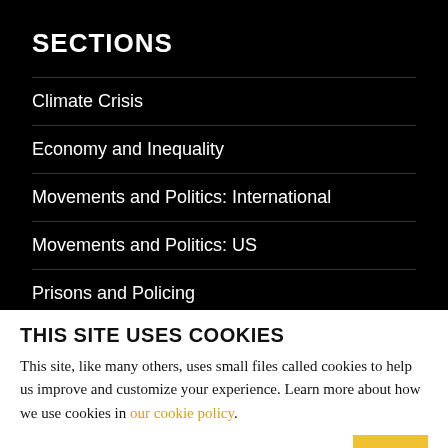SECTIONS
Climate Crisis
Economy and Inequality
Movements and Politics: International
Movements and Politics: US
Prisons and Policing
Racial Justice
THIS SITE USES COOKIES
This site, like many others, uses small files called cookies to help us improve and customize your experience. Learn more about how we use cookies in our cookie policy.
Learn more about cookies   OK